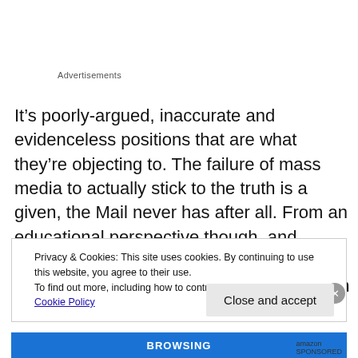Advertisements
It’s poorly-argued, inaccurate and evidenceless positions that are what they’re objecting to. The failure of mass media to actually stick to the truth is a given, the Mail never has after all. From an educational perspective though, and looking at things like “graduateness”, educating a population to insist on the truth should be one
Privacy & Cookies: This site uses cookies. By continuing to use this website, you agree to their use.
To find out more, including how to control cookies, see here: Cookie Policy
Close and accept